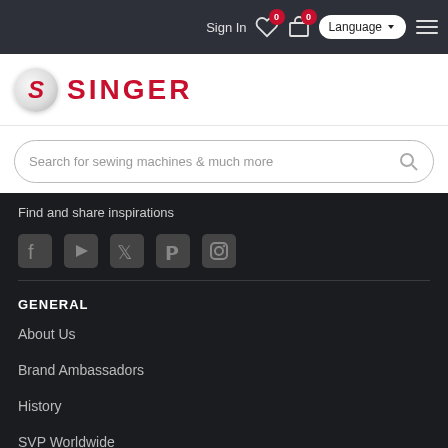Sign In  0  0  Language  ☰
[Figure (logo): Singer logo with red S emblem circle and red SINGER wordmark]
Search for sewing machines & much more
Find and share inspirations
[Figure (other): Social media icons: Facebook, YouTube, Twitter, Pinterest, Instagram]
GENERAL
About Us
Brand Ambassadors
History
SVP Worldwide